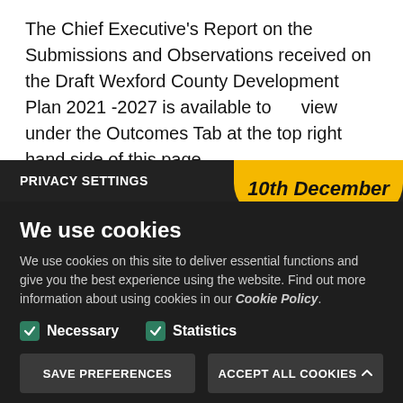The Chief Executive's Report on the Submissions and Observations received on the Draft Wexford County Development Plan 2021 -2027 is available to view under the Outcomes Tab at the top right hand side of this page.
PRIVACY SETTINGS
10th December
We use cookies
We use cookies on this site to deliver essential functions and give you the best experience using the website. Find out more information about using cookies in our Cookie Policy.
Necessary (checked)
Statistics (checked)
SAVE PREFERENCES
ACCEPT ALL COOKIES